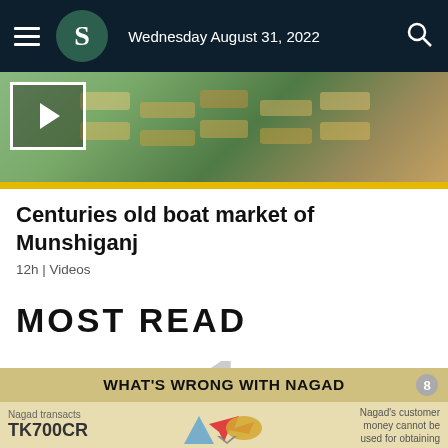Wednesday August 31, 2022
[Figure (photo): Aerial/overhead view of a boat market with colorful wooden boats arranged in rows, with a play button overlay indicating a video]
Centuries old boat market of Munshiganj
12h | Videos
MOST READ
1
[Figure (infographic): Infographic titled WHAT'S WRONG WITH NAGAD showing Nagad transacts TK700CR and note that Nagad's customer money cannot be used for obtaining]